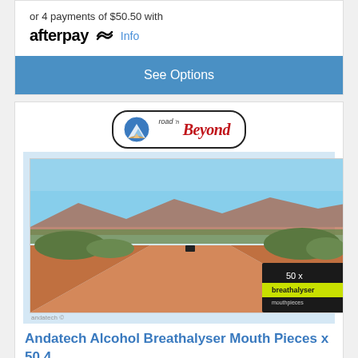or 4 payments of $50.50 with afterpay Info
[Figure (other): See Options button — blue rectangle button]
[Figure (logo): Road 'n Beyond logo — stylized mountain/road logo with red script text]
[Figure (photo): Desert outback dirt road stretching to horizon with red sand, scrub vegetation, blue sky, and a vehicle in the distance. Bottom-right corner shows a breathalyser product box (black and green, labeled 50x).]
Andatech Alcohol Breathalyser Mouth Pieces x 50 4